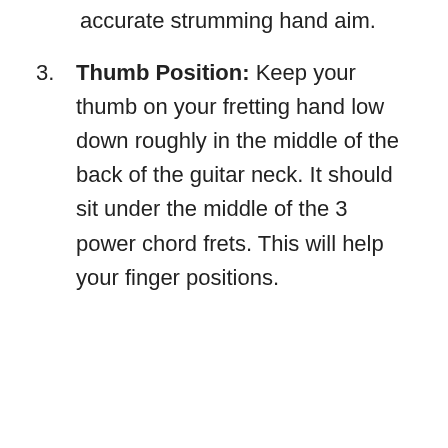accurate strumming hand aim.
Thumb Position: Keep your thumb on your fretting hand low down roughly in the middle of the back of the guitar neck. It should sit under the middle of the 3 power chord frets. This will help your finger positions.